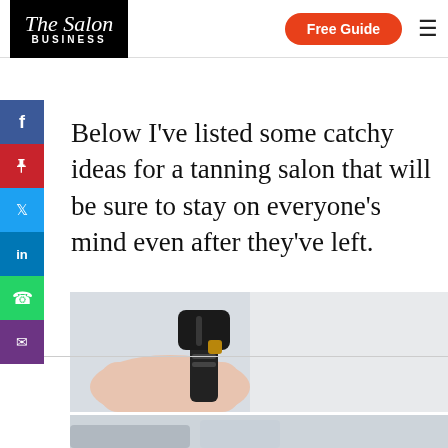The Salon Business | Free Guide
Below I've listed some catchy ideas for a tanning salon that will be sure to stay on everyone's mind even after they've left.
[Figure (photo): Close-up of a hand holding a spray tanning gun nozzle against a light grey background]
[Figure (photo): Lower portion of tanning equipment photo, blurred background]